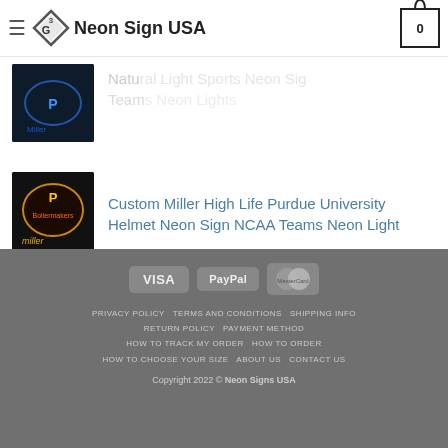Neon Sign USA
[Figure (screenshot): Partial product listing - faded top item with neon sign image and text: 'Natu... Neon Sig... Teams... Neon Lights']
[Figure (photo): Miller High Life Purdue University helmet neon sign product image]
Custom Miller High Life Purdue University Helmet Neon Sign NCAA Teams Neon Light
[Figure (photo): Bud Light neon sign product image]
Bud Light Sports Neon Sign Real Neon Light
PRIVACY POLICY   TERMS AND CONDITIONS   SHIPPING INFO   RETURN POLICY   PAYMENT METHOD   HOW TO TRACK MY ORDER   HOW TO ORDER   HOW TO CHOOSE YOUR SIZE   ABOUT US   CONTACT US   Copyright 2022 © Neon Signs USA